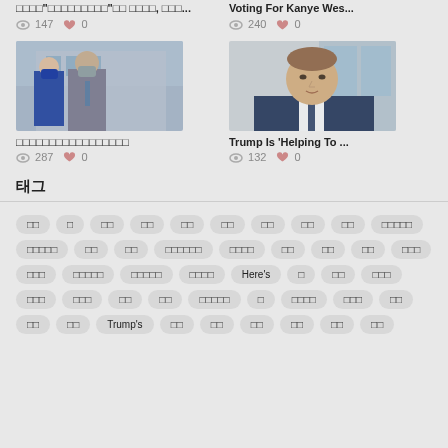[Figure (photo): Two people wearing masks walking, one in blue and one in grey]
□□□□□□□□□□□□□□□□□
👁 287  ♡ 0
[Figure (photo): Young man in a dark suit against a blurred background]
Trump Is 'Helping To ...
👁 132  ♡ 0
태그
□□ □ □□ □□ □□ □□ □□ □□ □□ □□□□□ □□□□□ □□ □□ □□□□□□ □□□□ □□ □□ □□ □□□ □□□ □□□□□ □□□□□ □□□□ Here's □ □□ □□□ □□□ □□□ □□ □□ □□□□□ □ □□□□ □□□ □□ □□ □□ Trump's □□ □□ □□ □□ □□ □□